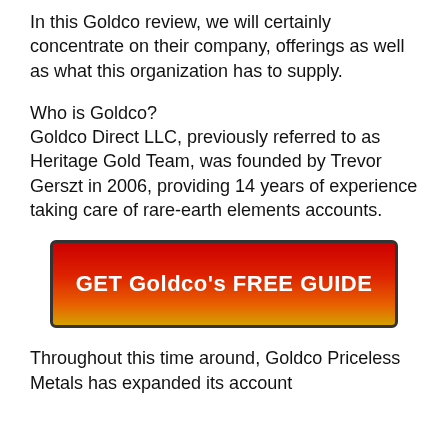In this Goldco review, we will certainly concentrate on their company, offerings as well as what this organization has to supply.
Who is Goldco?
Goldco Direct LLC, previously referred to as Heritage Gold Team, was founded by Trevor Gerszt in 2006, providing 14 years of experience taking care of rare-earth elements accounts.
[Figure (other): Red and gold gradient button with text 'GET Goldco's FREE GUIDE' in white bold text]
Throughout this time around, Goldco Priceless Metals has expanded its account